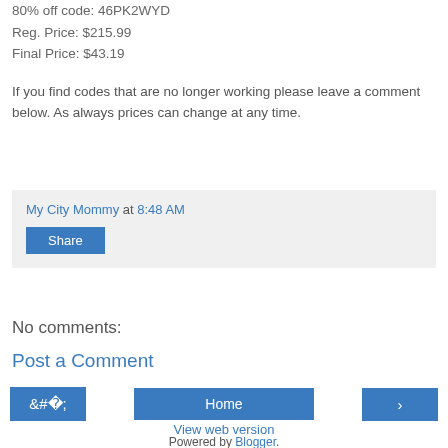80% off code: 46PK2WYD
Reg. Price: $215.99
Final Price: $43.19
If you find codes that are no longer working please leave a comment below. As always prices can change at any time.
My City Mommy at 8:48 AM
Share
No comments:
Post a Comment
‹
Home
›
View web version
Powered by Blogger.